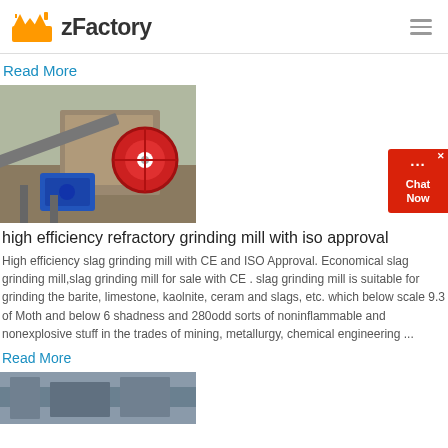zFactory
Read More
[Figure (photo): Overhead photo of a grinding mill machine outdoors, showing mechanical components including a red pulley wheel and blue motor]
high efficiency refractory grinding mill with iso approval
High efficiency slag grinding mill with CE and ISO Approval. Economical slag grinding mill,slag grinding mill for sale with CE . slag grinding mill is suitable for grinding the barite, limestone, kaolnite, ceram and slags, etc. which below scale 9.3 of Moth and below 6 shadness and 280odd sorts of noninflammable and nonexplosive stuff in the trades of mining, metallurgy, chemical engineering ...
Read More
[Figure (photo): Industrial interior photo showing factory equipment]